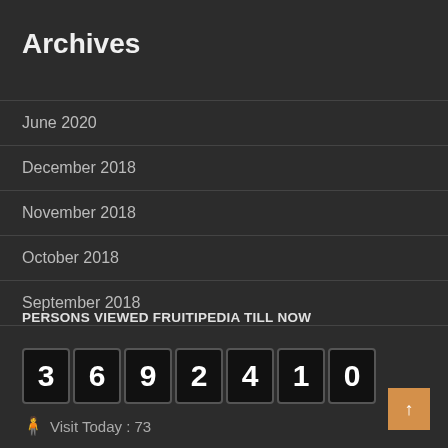Archives
June 2020
December 2018
November 2018
October 2018
September 2018
PERSONS VIEWED FRUITIPEDIA TILL NOW
[Figure (other): Digital counter showing the number 3692410]
Visit Today : 73